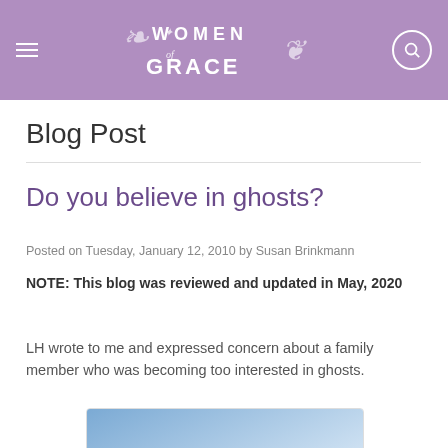Women of Grace
Blog Post
Do you believe in ghosts?
Posted on Tuesday, January 12, 2010 by Susan Brinkmann
NOTE: This blog was reviewed and updated in May, 2020
LH wrote to me and expressed concern about a family member who was becoming too interested in ghosts.
[Figure (photo): Partially visible image with blue-to-white gradient, likely a ghost or misty figure photo]